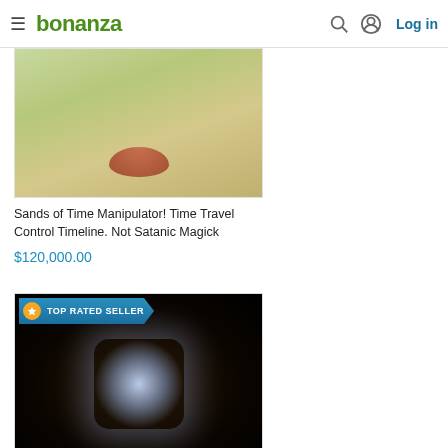bonanza — Log in
[Figure (photo): Product photo showing a pile of reddish-brown spice powder on a green surface]
Sands of Time Manipulator! Time Travel Control Timeline. Not Satanic Magick
$120,000.00
[Figure (photo): Product photo showing a diamond engagement ring with cushion-cut center stone and halo setting on a dark background, with a TOP RATED SELLER badge overlay]